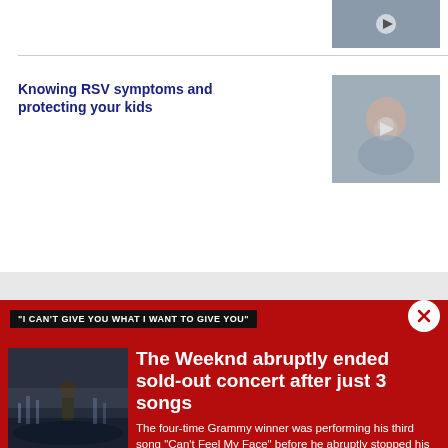[Figure (photo): Thumbnail image of a child, partially visible at top right]
Knowing RSV symptoms and protecting your kids
[Figure (photo): Thumbnail of a child drinking or blowing into a tissue/cup, related to RSV article]
[Figure (photo): Gray advertisement area]
"I CAN'T GIVE YOU WHAT I WANT TO GIVE YOU"
[Figure (photo): The Weeknd performing on stage in foggy atmosphere at SoFi Stadium]
The Weeknd abruptly ended sold-out concert after just 3 songs
The four-time Grammy winner was performing his third song "Can't Feel My Face" before he abruptly stopped his show at SoFi Stadium in Inglewood, California.